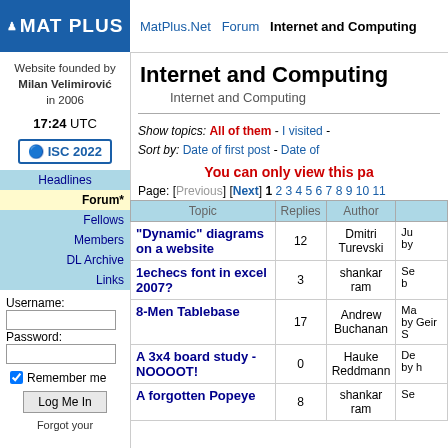MAT PLUS | MatPlus.Net Forum Internet and Computing
Website founded by Milan Velimirović in 2006
17:24 UTC
ISC 2022
Headlines
Forum*
Fellows
Members
DL Archive
Links
Internet and Computing
Internet and Computing
Show topics: All of them - I visited - Sort by: Date of first post - Date of
You can only view this pa
Page: [Previous] [Next] 1 2 3 4 5 6 7 8 9 10 11
| Topic | Replies | Author |  |
| --- | --- | --- | --- |
| "Dynamic" diagrams on a website | 12 | Dmitri Turevski | Ju by |
| 1echecs font in excel 2007? | 3 | shankar ram | Se b |
| 8-Men Tablebase | 17 | Andrew Buchanan | Ma by Geir S |
| A 3x4 board study - NOOOOT! | 0 | Hauke Reddmann | De by h |
| A forgotten Popeye | 8 | shankar ram | Se |